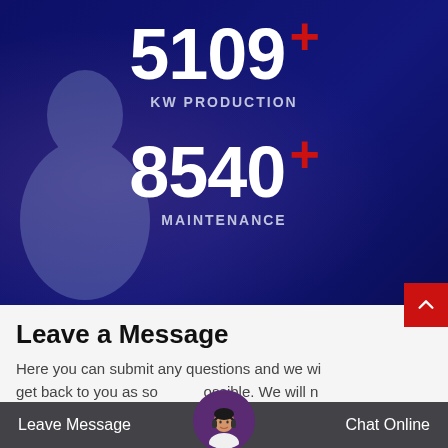5109 +
KW PRODUCTION
8540 +
MAINTENANCE
Leave a Message
Here you can submit any questions and we will get back to you as soon as possible. We will not Leave Message national submChat Online please not answer
Leave Message
Chat Online